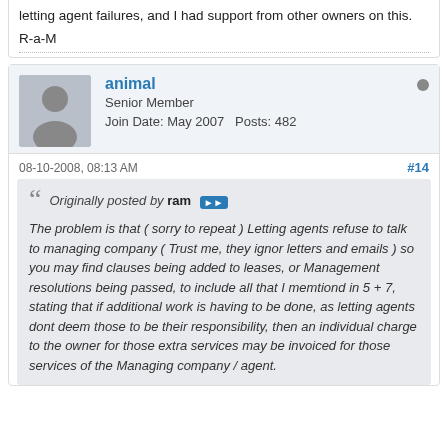letting agent failures, and I had support from other owners on this.
R-a-M
animal
Senior Member
Join Date: May 2007   Posts: 482
08-10-2008, 08:13 AM
#14
Originally posted by ram
The problem is that ( sorry to repeat ) Letting agents refuse to talk to managing company ( Trust me, they ignor letters and emails ) so you may find clauses being added to leases, or Management resolutions being passed, to include all that I memtiond in 5 + 7, stating that if additional work is having to be done, as letting agents dont deem those to be their responsibility, then an individual charge to the owner for those extra services may be invoiced for those services of the Managing company / agent.